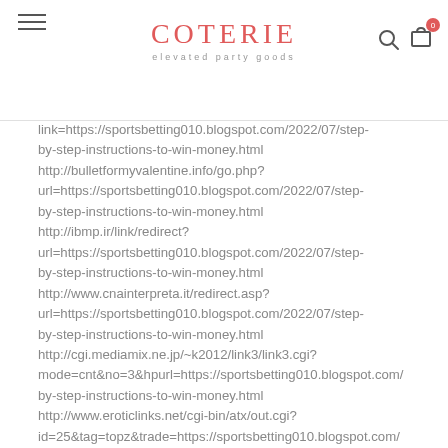COTERIE elevated party goods
link=https://sportsbetting010.blogspot.com/2022/07/step-by-step-instructions-to-win-money.html http://bulletformyvalentine.info/go.php?url=https://sportsbetting010.blogspot.com/2022/07/step-by-step-instructions-to-win-money.html http://ibmp.ir/link/redirect?url=https://sportsbetting010.blogspot.com/2022/07/step-by-step-instructions-to-win-money.html http://www.cnainterpreta.it/redirect.asp?url=https://sportsbetting010.blogspot.com/2022/07/step-by-step-instructions-to-win-money.html http://cgi.mediamix.ne.jp/~k2012/link3/link3.cgi?mode=cnt&no=3&hpurl=https://sportsbetting010.blogspot.com/by-step-instructions-to-win-money.html http://www.eroticlinks.net/cgi-bin/atx/out.cgi?id=25&tag=topz&trade=https://sportsbetting010.blogspot.com/by-step-instructions-to-win-money.html http://infoholix.net/redirect.php?